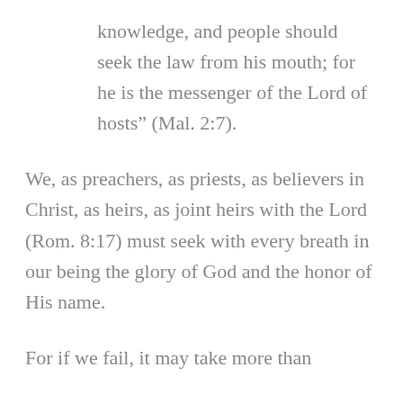knowledge, and people should seek the law from his mouth; for he is the messenger of the Lord of hosts” (Mal. 2:7).
We, as preachers, as priests, as believers in Christ, as heirs, as joint heirs with the Lord (Rom. 8:17) must seek with every breath in our being the glory of God and the honor of His name.
For if we fail, it may take more than